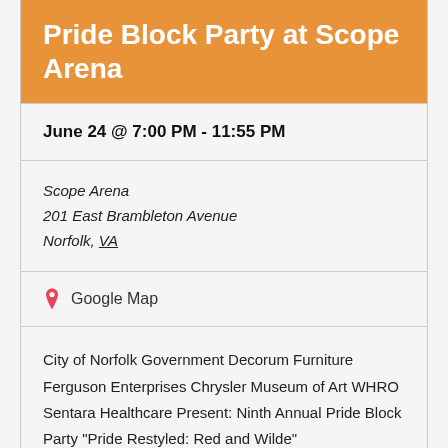Pride Block Party at Scope Arena
June 24 @ 7:00 PM - 11:55 PM
Scope Arena
201 East Brambleton Avenue
Norfolk, VA
📍 Google Map
City of Norfolk Government Decorum Furniture Ferguson Enterprises Chrysler Museum of Art WHRO Sentara Healthcare Present: Ninth Annual Pride Block Party "Pride Restyled: Red and Wilde" #PrideRed&Wilde #hrpride Dancing, Drag, &